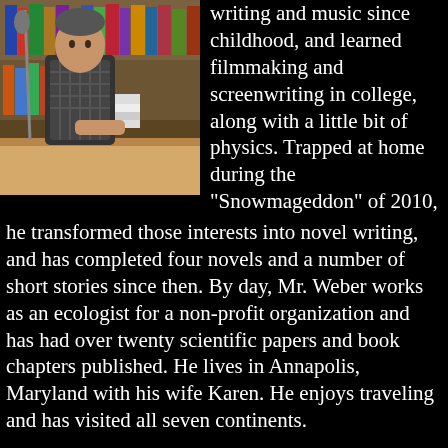[Figure (photo): A man sitting at a desk in a library or bookstore, reading or signing books. There are stacks of books on the table and bookshelves in the background. A microphone stand is visible to the left.]
writing and music since childhood, and learned filmmaking and screenwriting in college, along with a little bit of physics. Trapped at home during the "Snowmageddon" of 2010, he transformed those interests into novel writing, and has completed four novels and a number of short stories since then. By day, Mr. Weber works as an ecologist for a non-profit organization and has had over twenty scientific papers and book chapters published. He lives in Annapolis, Maryland with his wife Karen. He enjoys traveling and has visited all seven continents.
Contact Links